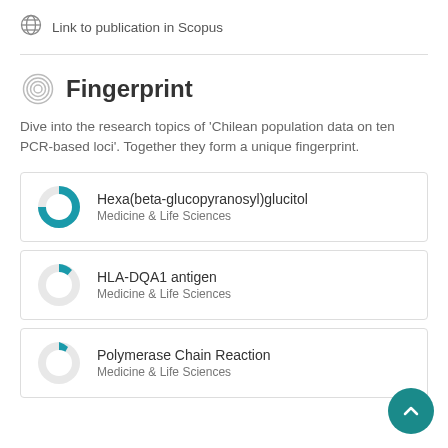Link to publication in Scopus
Fingerprint
Dive into the research topics of 'Chilean population data on ten PCR-based loci'. Together they form a unique fingerprint.
Hexa(beta-glucopyranosyl)glucitol
Medicine & Life Sciences
HLA-DQA1 antigen
Medicine & Life Sciences
Polymerase Chain Reaction
Medicine & Life Sciences